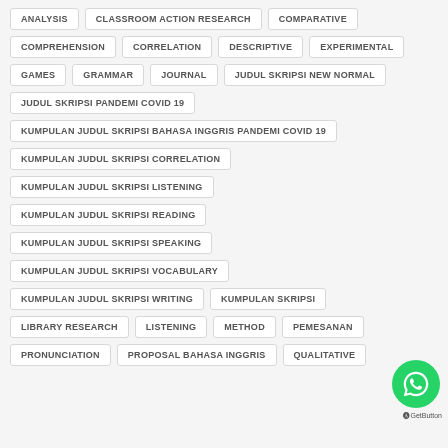ANALYSIS
CLASSROOM ACTION RESEARCH
COMPARATIVE
COMPREHENSION
CORRELATION
DESCRIPTIVE
EXPERIMENTAL
GAMES
GRAMMAR
JOURNAL
JUDUL SKRIPSI NEW NORMAL
JUDUL SKRIPSI PANDEMI COVID 19
KUMPULAN JUDUL SKRIPSI BAHASA INGGRIS PANDEMI COVID 19
KUMPULAN JUDUL SKRIPSI CORRELATION
KUMPULAN JUDUL SKRIPSI LISTENING
KUMPULAN JUDUL SKRIPSI READING
KUMPULAN JUDUL SKRIPSI SPEAKING
KUMPULAN JUDUL SKRIPSI VOCABULARY
KUMPULAN JUDUL SKRIPSI WRITING
KUMPULAN SKRIPSI
LIBRARY RESEARCH
LISTENING
METHOD
PEMESANAN
PRONUNCIATION
PROPOSAL BAHASA INGGRIS
QUALITATIVE